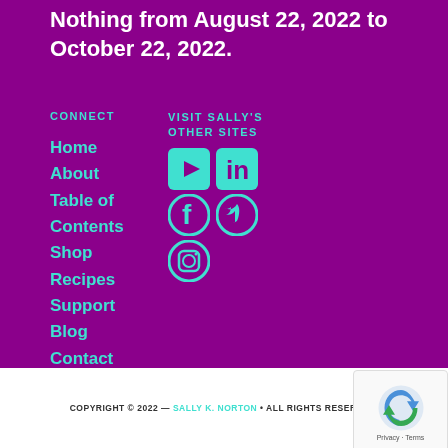Nothing from August 22, 2022 to October 22, 2022.
CONNECT
VISIT SALLY'S OTHER SITES
Home
About
Table of Contents
Shop
Recipes
Support
Blog
Contact
[Figure (illustration): Social media icons: YouTube, LinkedIn, Facebook, Twitter, Instagram]
COPYRIGHT © 2022 — SALLY K. NORTON • ALL RIGHTS RESERVED.